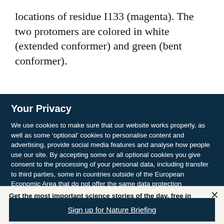locations of residue I133 (magenta). The two protomers are colored in white (extended conformer) and green (bent conformer).
Your Privacy
We use cookies to make sure that our website works properly, as well as some ‘optional’ cookies to personalise content and advertising, provide social media features and analyse how people use our site. By accepting some or all optional cookies you give consent to the processing of your personal data, including transfer to third parties, some in countries outside of the European Economic Area that do not offer the same data protection standards as the country where you live. You can decide which optional cookies to accept by clicking on ‘Manage Settings’, where you can
Get the most important science stories of the day, free in your inbox.
Sign up for Nature Briefing